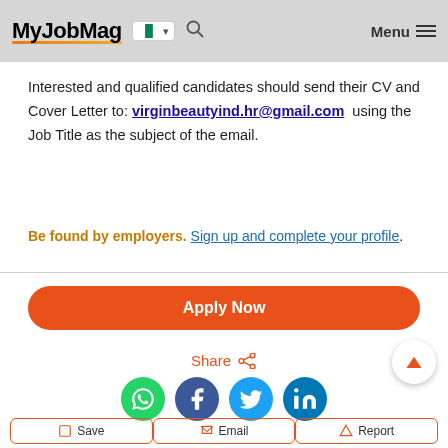MyJobMag | Nigeria | Menu
Interested and qualified candidates should send their CV and Cover Letter to: virginbeautyind.hr@gmail.com  using the Job Title as the subject of the email.
Be found by employers. Sign up and complete your profile.
[Figure (other): Apply Now orange rounded button]
[Figure (other): Share section with WhatsApp, Facebook, Twitter, LinkedIn icons]
[Figure (other): Bottom action buttons: Save, Email, Report]